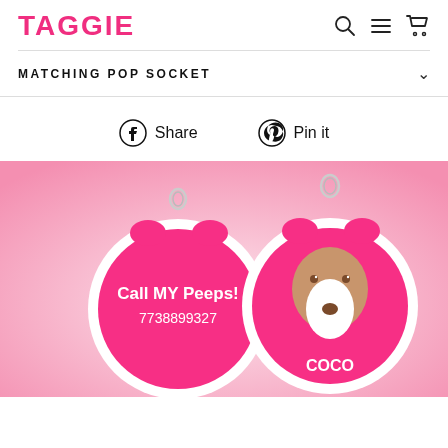TAGGIE
MATCHING POP SOCKET
Share  Pin it
[Figure (photo): Two round pink pet ID tags. Left tag shows text 'Call MY Peeps! 7738899327' on a hot pink background with white ring and metal clip. Right tag shows a cartoon beagle dog face with the name 'COCO' on a hot pink background with white ring and metal clip.]